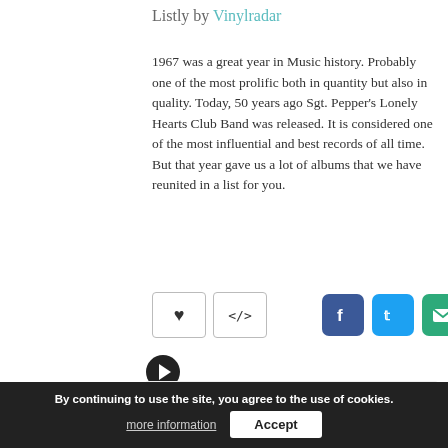Listly by Vinylradar
1967 was a great year in Music history. Probably one of the most prolific both in quantity but also in quality. Today, 50 years ago Sgt. Pepper's Lonely Hearts Club Band was released. It is considered one of the most influential and best records of all time. But that year gave us a lot of albums that we have reunited in a list for you.
[Figure (infographic): Action buttons row: heart/favorite button, embed code button, and social share icons for Facebook, Twitter, email, and link]
[Figure (infographic): Right-facing arrow circle button for navigation]
[Figure (infographic): Add To List button in a light gray box]
By continuing to use the site, you agree to the use of cookies.
more information
Accept
1  Sgt. Pepper's Lonely Hearts Club Band (The Beatles) ↗
May 30, 2017 · vinylradar.com · 3 clicks